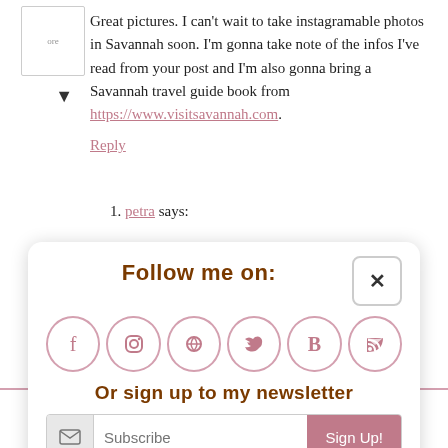Great pictures. I can't wait to take instagramable photos in Savannah soon. I'm gonna take note of the infos I've read from your post and I'm also gonna bring a Savannah travel guide book from https://www.visitsavannah.com.
Reply
1. petra says:
[Figure (infographic): Follow me on: popup with social media icons (Facebook, Instagram, Pinterest, Twitter, Bloglovin, RSS), newsletter signup with Subscribe input and Sign Up! button, and a close (x) button.]
About Me